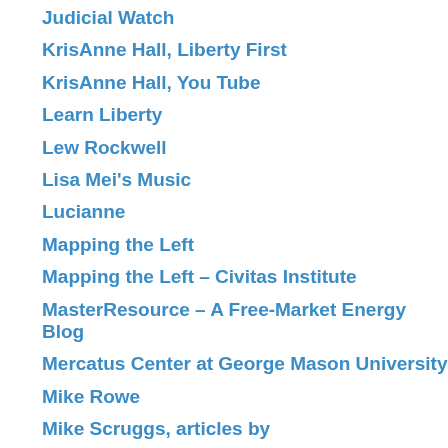Judicial Watch
KrisAnne Hall, Liberty First
KrisAnne Hall, You Tube
Learn Liberty
Lew Rockwell
Lisa Mei's Music
Lucianne
Mapping the Left
Mapping the Left – Civitas Institute
MasterResource – A Free-Market Energy Blog
Mercatus Center at George Mason University
Mike Rowe
Mike Scruggs, articles by
Mises Institute